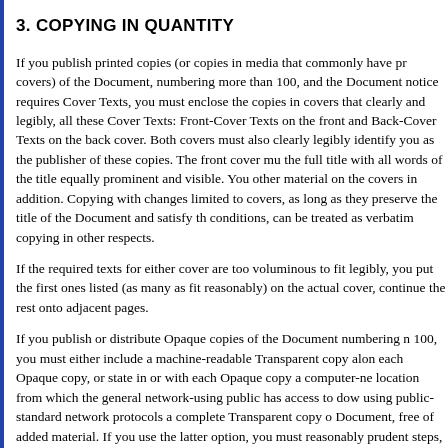3. COPYING IN QUANTITY
If you publish printed copies (or copies in media that commonly have printed covers) of the Document, numbering more than 100, and the Document's license notice requires Cover Texts, you must enclose the copies in covers that carry, clearly and legibly, all these Cover Texts: Front-Cover Texts on the front cover, and Back-Cover Texts on the back cover. Both covers must also clearly and legibly identify you as the publisher of these copies. The front cover must present the full title with all words of the title equally prominent and visible. You may add other material on the covers in addition. Copying with changes limited to the covers, as long as they preserve the title of the Document and satisfy these conditions, can be treated as verbatim copying in other respects.
If the required texts for either cover are too voluminous to fit legibly, you should put the first ones listed (as many as fit reasonably) on the actual cover, and continue the rest onto adjacent pages.
If you publish or distribute Opaque copies of the Document numbering more than 100, you must either include a machine-readable Transparent copy along with each Opaque copy, or state in or with each Opaque copy a computer-network location from which the general network-using public has access to download using public-standard network protocols a complete Transparent copy of the Document, free of added material. If you use the latter option, you must take reasonably prudent steps, when you begin distribution of Opaque copies in quantity, to ensure that this Transparent copy will remain thus accessible at the stated location until at least one year after the last time you distribute an Opaque copy (directly or through your agents or retailers) of that edition to the public.
It is requested, but not required, that you contact the authors of the Document well before redistributing any large number of copies, to give them a chance